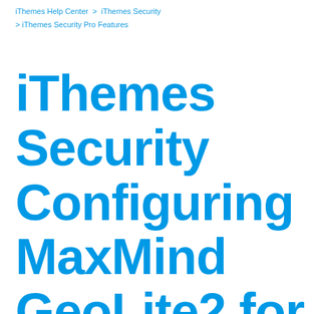iThemes Help Center > iThemes Security > iThemes Security Pro Features
iThemes Security Configuring MaxMind GeoLite2 for Trusted Devices